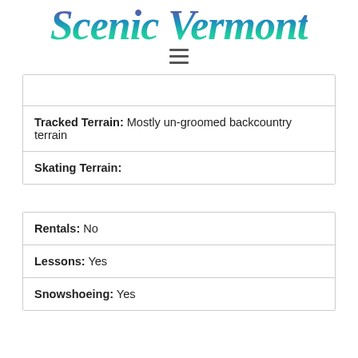[Figure (logo): Scenic Vermont logo in large italic bold text with blue-green-purple gradient]
|  |
| Tracked Terrain: Mostly un-groomed backcountry terrain |
| Skating Terrain: |
| Rentals: No |
| Lessons: Yes |
| Snowshoeing: Yes |